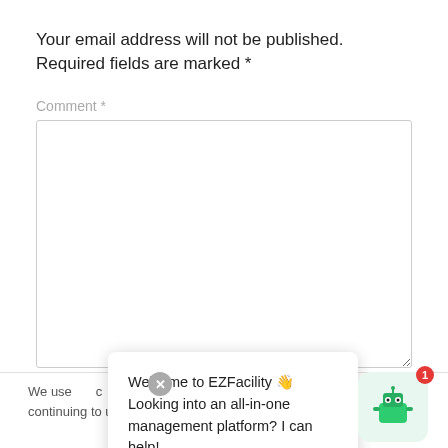Your email address will not be published. Required fields are marked *
Comment *
[Figure (screenshot): Empty comment textarea input field with rounded border]
We use c ... ce. By continuing to us ... se
[Figure (other): Chat popup saying 'Welcome to EZFacility 👋 Looking into an all-in-one management platform? I can help!' with a robot chatbot icon showing a red notification badge of 1]